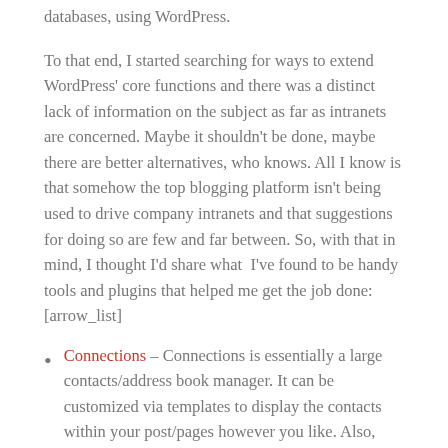databases, using WordPress.
To that end, I started searching for ways to extend WordPress' core functions and there was a distinct lack of information on the subject as far as intranets are concerned. Maybe it shouldn't be done, maybe there are better alternatives, who knows. All I know is that somehow the top blogging platform isn't being used to drive company intranets and that suggestions for doing so are few and far between. So, with that in mind, I thought I'd share what  I've found to be handy tools and plugins that helped me get the job done:
[arrow_list]
Connections – Connections is essentially a large contacts/address book manager. It can be customized via templates to display the contacts within your post/pages however you like. Also, with an addon ($15) it can bulk import CSV files into the